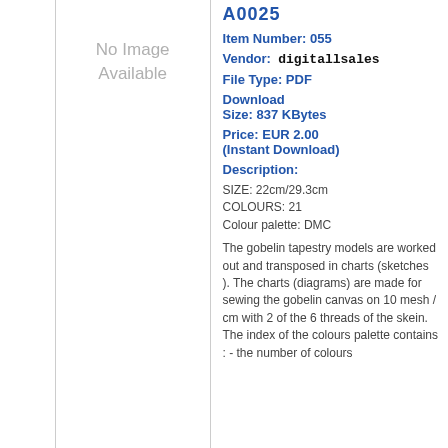[Figure (other): No Image Available placeholder]
Item Number: 055
Vendor: digitallsales
File Type: PDF
Download Size: 837 KBytes
Price: EUR 2.00 (Instant Download)
Description:
SIZE: 22cm/29.3cm
COLOURS: 21
Colour palette: DMC
The gobelin tapestry models are worked out and transposed in charts (sketches ). The charts (diagrams) are made for sewing the gobelin canvas on 10 mesh / cm with 2 of the 6 threads of the skein. The index of the colours palette contains : - the number of colours